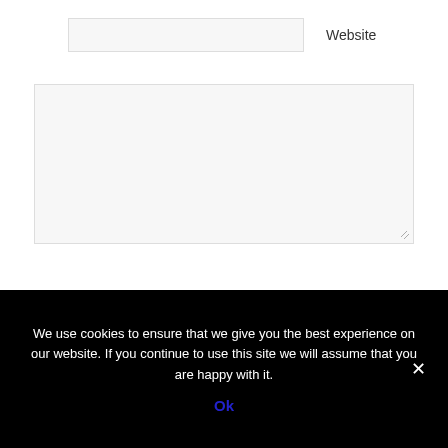[Figure (screenshot): A small text input field (website field) with a label 'Website' to its right]
Website
[Figure (screenshot): A large textarea input box for comment entry with a resize handle at the bottom right]
[Figure (screenshot): A black 'Post Comment' button]
We use cookies to ensure that we give you the best experience on our website. If you continue to use this site we will assume that you are happy with it.
Ok